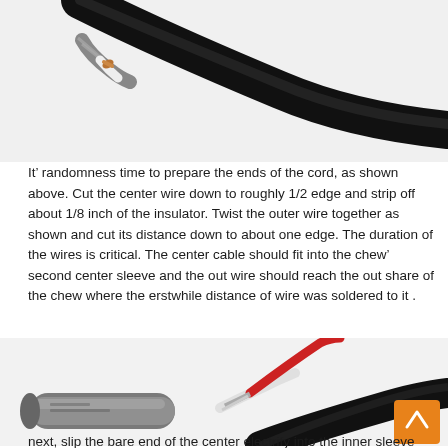[Figure (photo): Close-up photograph of coaxial cable end preparation: black outer jacket stripped to reveal braided shield wire and white inner insulator with exposed copper center conductor]
It’ randomness time to prepare the ends of the cord, as shown above. Cut the center wire down to roughly 1/2 edge and strip off about 1/8 inch of the insulator. Twist the outer wire together as shown and cut its distance down to about one edge. The duration of the wires is critical. The center cable should fit into the chew’ second center sleeve and the out wire should reach the out share of the chew where the erstwhile distance of wire was soldered to it .
[Figure (photo): Photograph showing cable end preparation with red and silver wires, and a metal cylindrical connector sleeve; an orange scroll-to-top button is visible in the bottom right corner]
next, slip the bare end of the center electrify into the inner sleeve and